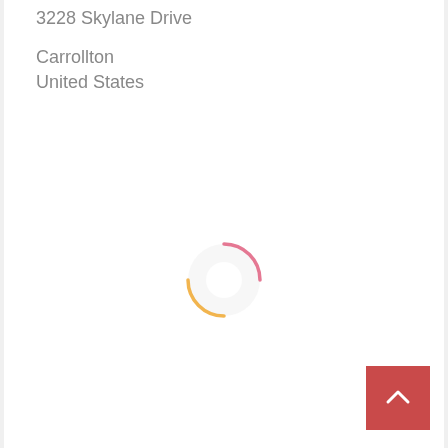3228 Skylane Drive
Carrollton
United States
[Figure (infographic): A loading spinner graphic with a pink/red arc on the upper right and a gold/yellow arc on the lower left, centered on the page]
[Figure (infographic): A red/crimson square button with a white upward-pointing chevron arrow, positioned at the bottom right of the page]